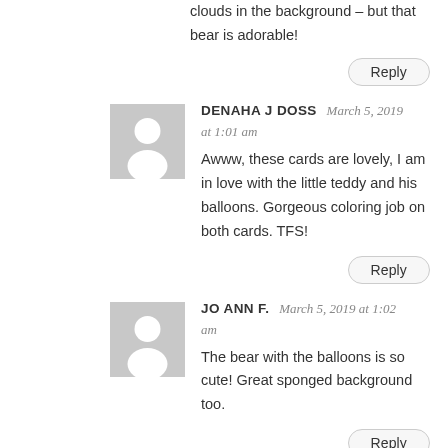clouds in the background – but that bear is adorable!
Reply
DENAHA J DOSS  March 5, 2019 at 1:01 am
Awww, these cards are lovely, I am in love with the little teddy and his balloons. Gorgeous coloring job on both cards. TFS!
Reply
JO ANN F.  March 5, 2019 at 1:02 am
The bear with the balloons is so cute! Great sponged background too.